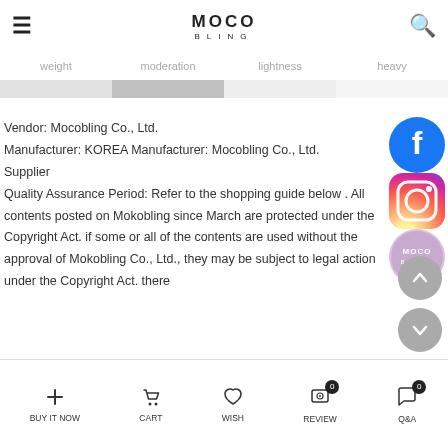MOCO BLING
weight   moderation   lightness   heavy
Vendor: Mocobling Co., Ltd.
Manufacturer: KOREA Manufacturer: Mocobling Co., Ltd.
Supplier
Quality Assurance Period: Refer to the shopping guide below . All contents posted on Mokobling since March are protected under the Copyright Act. if some or all of the contents are used without the approval of Mokobling Co., Ltd., they may be subject to legal action under the Copyright Act. there
[Figure (logo): Facebook circular logo icon]
[Figure (logo): Instagram circular logo icon]
[Figure (logo): Moco Bling circular logo/watermark]
BUY IT NOW   CART   WISH   REVIEW 0   Q&A 0